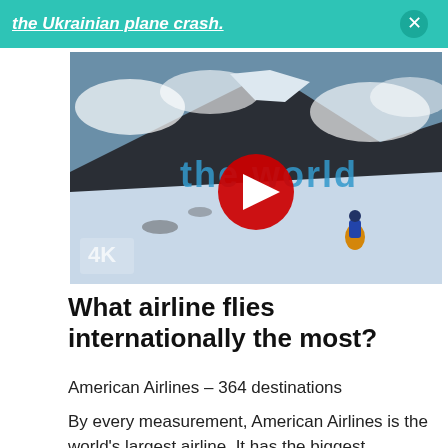the Ukrainian plane crash.
[Figure (screenshot): YouTube video thumbnail showing a person hiking on a snowy mountain landscape with the text 'the world' overlaid in blue letters and a red YouTube play button in the center. A 4K badge is visible in the bottom left corner.]
What airline flies internationally the most?
American Airlines – 364 destinations
By every measurement, American Airlines is the world's largest airline. It has the biggest